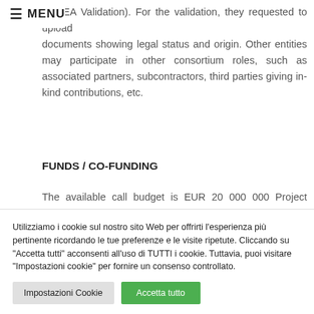≡ MENU
e (REA Validation). For the validation, they requested to upload documents showing legal status and origin. Other entities may participate in other consortium roles, such as associated partners, subcontractors, third parties giving in-kind contributions, etc.
FUNDS / CO-FUNDING
The available call budget is EUR 20 000 000 Project budget (maximum grant amount): No
Utilizziamo i cookie sul nostro sito Web per offrirti l'esperienza più pertinente ricordando le tue preferenze e le visite ripetute. Cliccando su "Accetta tutti" acconsenti all'uso di TUTTI i cookie. Tuttavia, puoi visitare "Impostazioni cookie" per fornire un consenso controllato.
Impostazioni Cookie | Accetta tutto